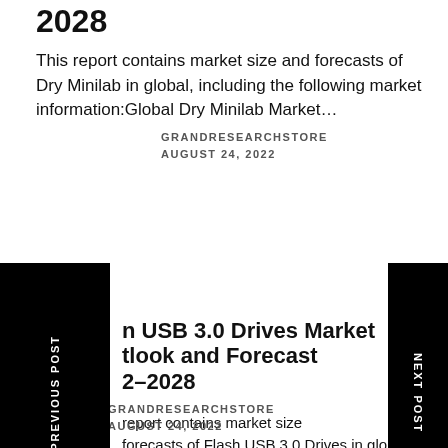2028
This report contains market size and forecasts of Dry Minilab in global, including the following market information:Global Dry Minilab Market…
GRANDRESEARCHSTORE
AUGUST 24, 2022
n USB 3.0 Drives Market tlook and Forecast 2–2028
report contains market size forecasts of Flash USB 3.0 Drives in global, including the following market information:Global Flash…
GRANDRESEARCHSTORE
AUGUST 24, 2022